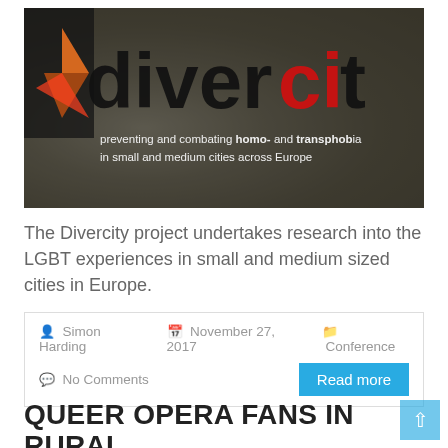[Figure (photo): Divercity project banner with crowd background, logo showing 'divercity' with 'ci' in red, and tagline 'preventing and combating homo- and transphobia in small and medium cities across Europe']
The Divercity project undertakes research into the LGBT experiences in small and medium sized cities in Europe.
Simon Harding   November 27, 2017   Conference   No Comments
Read more
QUEER OPERA FANS IN RURAL